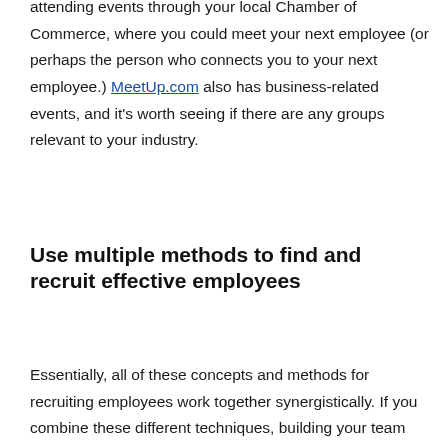attending events through your local Chamber of Commerce, where you could meet your next employee (or perhaps the person who connects you to your next employee.) MeetUp.com also has business-related events, and it's worth seeing if there are any groups relevant to your industry.
Use multiple methods to find and recruit effective employees
Essentially, all of these concepts and methods for recruiting employees work together synergistically. If you combine these different techniques, building your team can be an exciting